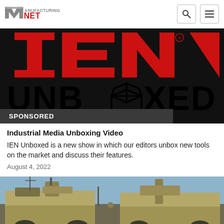Manufacturing.net
[Figure (logo): IEN Unboxed logo — red IEN letters on top, black UNBOXED text below with an open box icon replacing the O]
SPONSORED
Industrial Media Unboxing Video
IEN Unboxed is a new show in which our editors unbox new tools on the market and discuss their features.
August 4, 2022
[Figure (photo): Military vehicles (tan armored trucks) photographed outdoors]